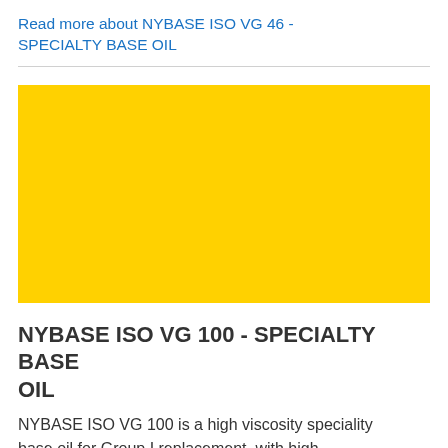Read more about NYBASE ISO VG 46 - SPECIALTY BASE OIL
[Figure (photo): Large solid yellow/golden colored rectangular image block representing NYBASE ISO VG 100 specialty base oil product.]
NYBASE ISO VG 100 - SPECIALTY BASE OIL
NYBASE ISO VG 100 is a high viscosity speciality base oil for Group I replacement, with high Viscosity Index (VI), high Flash Point (FP), and...